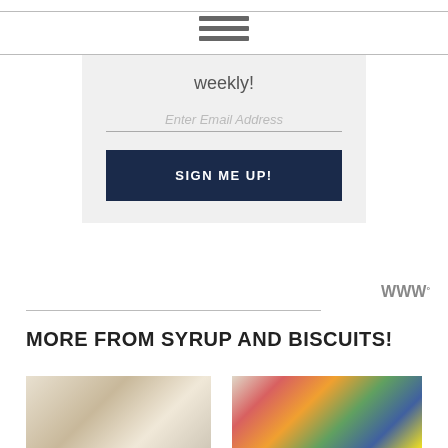[Figure (other): Hamburger menu icon (three horizontal lines)]
weekly!
Enter Email Address
SIGN ME UP!
[Figure (logo): Weather widget icon showing stylized W with degree symbol]
MORE FROM SYRUP AND BISCUITS!
[Figure (photo): Food photo thumbnail on left - appears to show a dish in a bowl]
[Figure (photo): Food photo thumbnail on right - appears to show a fruit salad or bowl with colorful fruits]